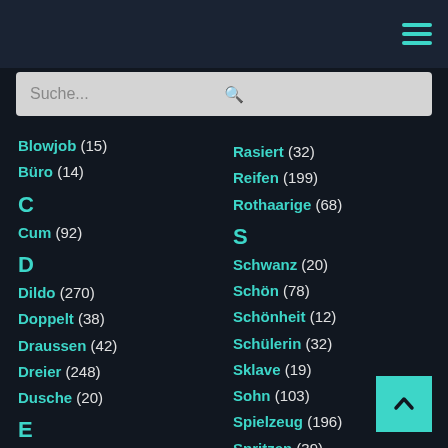Navigation header with hamburger menu
Suche...
Blowjob (15)
Büro (14)
C
Cum (92)
D
Dildo (270)
Doppelt (38)
Draussen (42)
Dreier (248)
Dusche (20)
E
Erstes Mal (58)
F
Rasiert (32)
Reifen (199)
Rothaarige (68)
S
Schwanz (20)
Schön (78)
Schönheit (12)
Schülerin (32)
Sklave (19)
Sohn (103)
Spielzeug (196)
Spritzen (39)
Strapon (161)